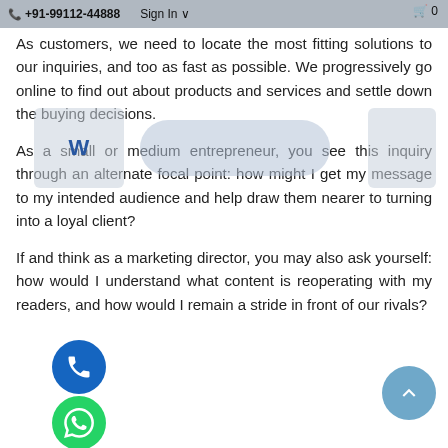+91-99112-44888  Sign In  0
As customers, we need to locate the most fitting solutions to our inquiries, and too as fast as possible. We progressively go online to find out about products and services and settle down the buying decisions.
As a small or medium entrepreneur, you see this inquiry through an alternate focal point: how might I get my message to my intended audience and help draw them nearer to turning into a loyal client?
If and think as a marketing director, you may also ask yourself: how would I understand what content is reoperating with my readers, and how would I remain a stride in front of our rivals?